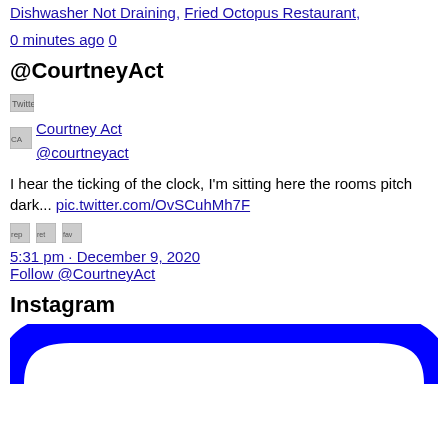Dishwasher Not Draining, Fried Octopus Restaurant,
0 minutes ago 0
@CourtneyAct
[Figure (illustration): Twitter bird icon placeholder image]
[Figure (photo): Courtney Act profile image placeholder]
Courtney Act
@courtneyact
I hear the ticking of the clock, I’m sitting here the rooms pitch dark... pic.twitter.com/OvSCuhMh7F
[Figure (illustration): reply icon placeholder]
[Figure (illustration): retweet icon placeholder]
[Figure (illustration): favorite icon placeholder]
5:31 pm · December 9, 2020
Follow @CourtneyAct
Instagram
[Figure (logo): Instagram logo - blue arch/horseshoe shape (bottom portion of Instagram camera icon)]